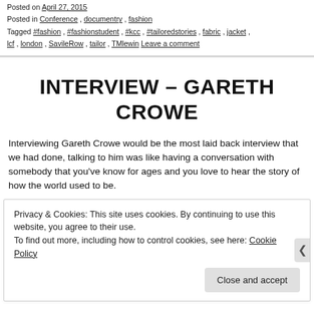Posted on April 27, 2015
Posted in Conference, documentry, fashion
Tagged #fashion, #fashionstudent, #kcc, #tailoredstories, fabric, jacket, lcf, london, SavileRow, tailor, TMlewin Leave a comment
INTERVIEW – GARETH CROWE
Interviewing Gareth Crowe would be the most laid back interview that we had done, talking to him was like having a conversation with somebody that you've know for ages and you love to hear the story of how the world used to be.
Privacy & Cookies: This site uses cookies. By continuing to use this website, you agree to their use.
To find out more, including how to control cookies, see here: Cookie Policy